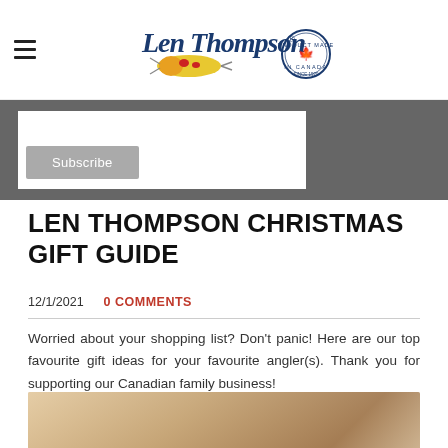Len Thompson — navigation and logo header
[Figure (logo): Len Thompson logo with fishing lure and Canadian maple leaf badge, Since 1929]
[Figure (screenshot): Subscribe button on dark banner background]
LEN THOMPSON CHRISTMAS GIFT GUIDE
12/1/2021   0 COMMENTS
Worried about your shopping list? Don't panic! Here are our top favourite gift ideas for your favourite angler(s). Thank you for supporting our Canadian family business!
[Figure (photo): Partial photo of a person, cropped at bottom of page]